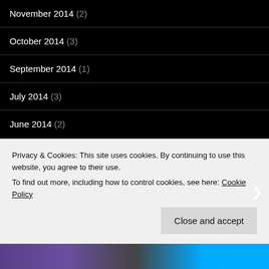November 2014 (2)
October 2014 (3)
September 2014 (1)
July 2014 (3)
June 2014 (2)
May 2014 (1)
April 2014 (3)
March 2014 (8)
Privacy & Cookies: This site uses cookies. By continuing to use this website, you agree to their use. To find out more, including how to control cookies, see here: Cookie Policy
Close and accept